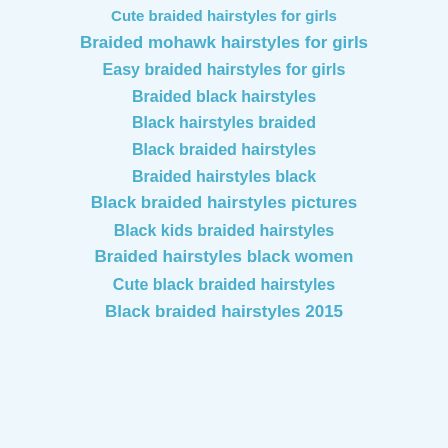Cute braided hairstyles for girls
Braided mohawk hairstyles for girls
Easy braided hairstyles for girls
Braided black hairstyles
Black hairstyles braided
Black braided hairstyles
Braided hairstyles black
Black braided hairstyles pictures
Black kids braided hairstyles
Braided hairstyles black women
Cute black braided hairstyles
Black braided hairstyles 2015